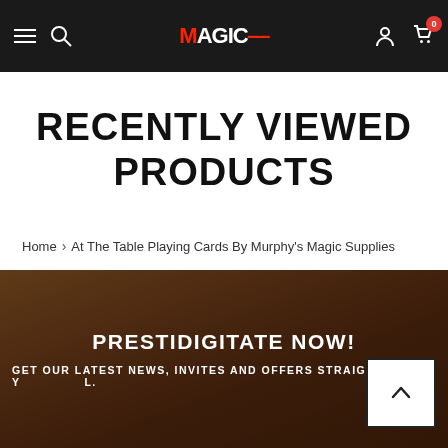Navigation bar with hamburger menu, search, MAGIC logo, account icon, and cart (0)
RECENTLY VIEWED PRODUCTS
Home › At The Table Playing Cards By Murphy's Magic Supplies
[Figure (photo): Warm brown blurred background banner with text 'PRESTIDIGITATE NOW!' and 'GET OUR LATEST NEWS, INVITES AND OFFERS STRAIGHT TO YOUR MAIL.' plus a scroll-to-top button and UNAVAILABLE button]